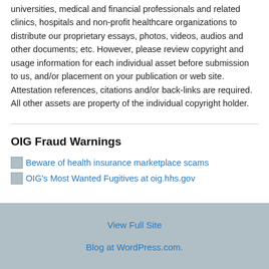universities, medical and financial professionals and related clinics, hospitals and non-profit healthcare organizations to distribute our proprietary essays, photos, videos, audios and other documents; etc. However, please review copyright and usage information for each individual asset before submission to us, and/or placement on your publication or web site. Attestation references, citations and/or back-links are required. All other assets are property of the individual copyright holder.
OIG Fraud Warnings
Beware of health insurance marketplace scams
OIG's Most Wanted Fugitives at oig.hhs.gov
View Full Site
Blog at WordPress.com.